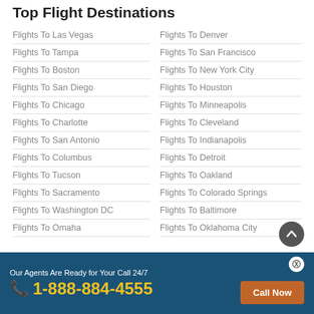Top Flight Destinations
Flights To Las Vegas
Flights To Denver
Flights To Tampa
Flights To San Francisco
Flights To Boston
Flights To New York City
Flights To San Diego
Flights To Houston
Flights To Chicago
Flights To Minneapolis
Flights To Charlotte
Flights To Cleveland
Flights To San Antonio
Flights To Indianapolis
Flights To Columbus
Flights To Detroit
Flights To Tucson
Flights To Oakland
Flights To Sacramento
Flights To Colorado Springs
Flights To Washington DC
Flights To Baltimore
Flights To Omaha
Flights To Oklahoma City
Our Agents Are Ready for Your Call 24/7  1-888-884-4555  Call Now